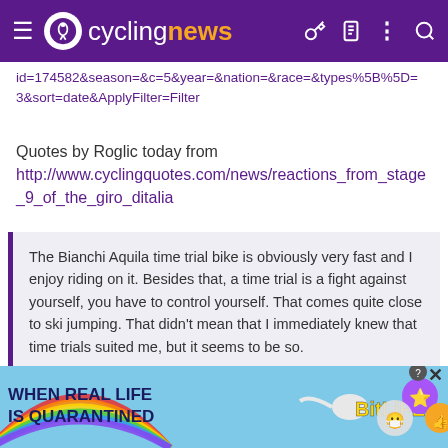cyclingnews
id=174582&season=&c=5&year=&nation=&race=&types%5B%5D=3&sort=date&ApplyFilter=Filter
Quotes by Roglic today from http://www.cyclingquotes.com/news/reactions_from_stage_9_of_the_giro_ditalia
The Bianchi Aquila time trial bike is obviously very fast and I enjoy riding on it. Besides that, a time trial is a fight against yourself, you have to control yourself. That comes quite close to ski jumping. That didn't mean that I immediately knew that time trials suited me, but it seems to be so.
After approximately ten kilometres, I lost my computer and my
[Figure (screenshot): BitLife advertisement banner at the bottom of the page with rainbow and cartoon characters]